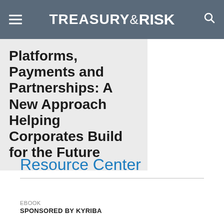TREASURY & RISK
Platforms, Payments and Partnerships: A New Approach Helping Corporates Build for the Future
Resource Center
EBOOK
SPONSORED BY KYRIBA